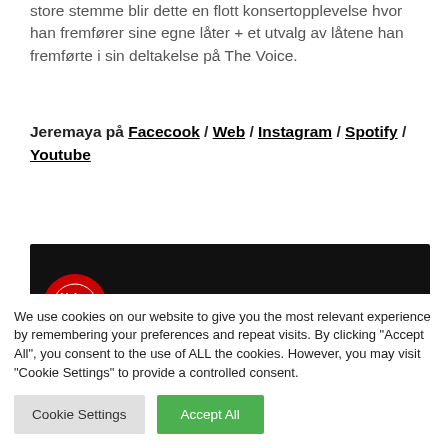store stemme blir dette en flott konsertopplevelse hvor han fremfører sine egne låter + et utvalg av låtene han fremførte i sin deltakelse på The Voice.
Jeremaya på Facecook / Web / Instagram / Spotify / Youtube
[Figure (screenshot): YouTube video thumbnail showing 'Jeremaya John - Could You Be ...' with The Voice logo on dark background]
We use cookies on our website to give you the most relevant experience by remembering your preferences and repeat visits. By clicking "Accept All", you consent to the use of ALL the cookies. However, you may visit "Cookie Settings" to provide a controlled consent.